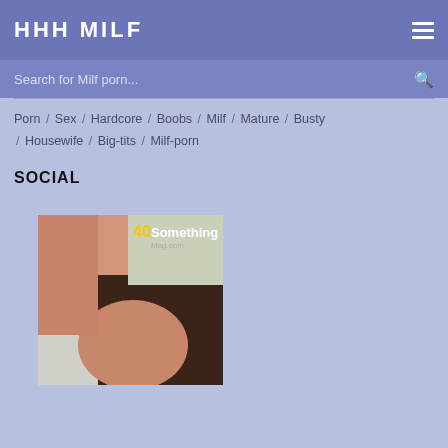HHH MILF
Search for Milf porn...
Porn / Sex / Hardcore / Boobs / Milf / Mature / Busty / Housewife / Big-tits / Milf-porn
SOCIAL
[Figure (photo): Partial photo of a person, with a '40Something' watermark logo in the upper right corner]